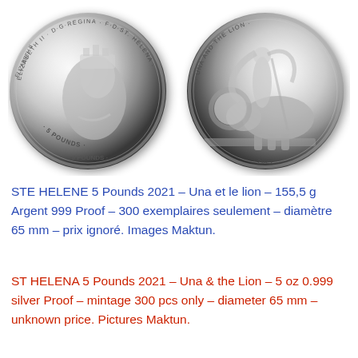[Figure (photo): Two silver coins side by side: left coin shows obverse with Queen Elizabeth II portrait and '5 POUNDS' inscription on St. Helena coin; right coin shows reverse with 'UNA AND THE LION' design featuring a woman with flowing hair leading a lion, dated 2021.]
STE HELENE 5 Pounds 2021 – Una et le lion – 155,5 g Argent 999 Proof – 300 exemplaires seulement – diamètre 65 mm – prix ignoré. Images Maktun.
ST HELENA 5 Pounds 2021 – Una & the Lion – 5 oz 0.999 silver Proof – mintage 300 pcs only – diameter 65 mm – unknown price. Pictures Maktun.